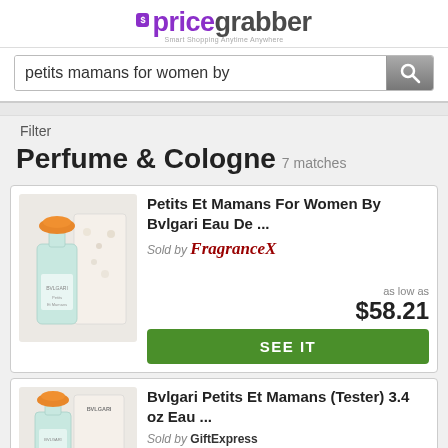[Figure (logo): PriceGrabber logo with purple tag icon and green/gray brand text, tagline 'Smart Shopping Anytime Anywhere']
petits mamans for women by
Filter
Perfume & Cologne 7 matches
[Figure (photo): Bvlgari Petits Et Mamans perfume bottle with orange cap and teal/mint body beside white box with children illustrations]
Petits Et Mamans For Women By Bvlgari Eau De ...
Sold by FragranceX
as low as $58.21
SEE IT
[Figure (photo): Bvlgari Petits Et Mamans (Tester) perfume bottle with orange cap beside white Bvlgari branded box]
Bvlgari Petits Et Mamans (Tester) 3.4 oz Eau ...
Sold by GiftExpress